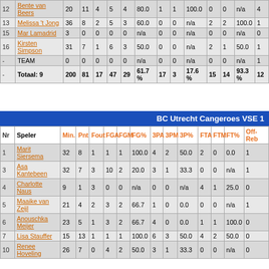| Nr | Speler | Min. | Pnt | Fout | FGA | FGM | FG% | 3PA | 3PM | 3P% | FTA | FTM | FT% | Off-Reb |
| --- | --- | --- | --- | --- | --- | --- | --- | --- | --- | --- | --- | --- | --- | --- |
| 12 | Bente van Beers | 20 | 11 | 4 | 5 | 4 | 80.0 | 1 | 1 | 100.0 | 0 | 0 | n/a | 4 |
| 13 | Melissa 't Jong | 36 | 8 | 2 | 5 | 3 | 60.0 | 0 | 0 | n/a | 2 | 2 | 100.0 | 1 |
| 15 | Mar Lamadrid | 3 | 0 | 0 | 0 | 0 | n/a | 0 | 0 | n/a | 0 | 0 | n/a | 0 |
| 16 | Kirsten Simpson | 31 | 7 | 1 | 6 | 3 | 50.0 | 0 | 0 | n/a | 2 | 1 | 50.0 | 1 |
| - | TEAM | 0 | 0 | 0 | 0 | 0 | n/a | 0 | 0 | n/a | 0 | 0 | n/a | 1 |
| - | Totaal: 9 | 200 | 81 | 17 | 47 | 29 | 61.7% | 17 | 3 | 17.6% | 15 | 14 | 93.3% | 12 |
| Nr | Speler | Min. | Pnt | Fout | FGA | FGM | FG% | 3PA | 3PM | 3P% | FTA | FTM | FT% | Off-Reb |
| --- | --- | --- | --- | --- | --- | --- | --- | --- | --- | --- | --- | --- | --- | --- |
| 1 | Marit Siersema | 32 | 8 | 1 | 1 | 1 | 100.0 | 4 | 2 | 50.0 | 2 | 0 | 0.0 | 1 |
| 3 | Asa Kantebeen | 32 | 7 | 3 | 10 | 2 | 20.0 | 3 | 1 | 33.3 | 0 | 0 | n/a | 1 |
| 4 | Charlotte Naus | 9 | 1 | 3 | 0 | 0 | n/a | 0 | 0 | n/a | 4 | 1 | 25.0 | 0 |
| 5 | Maaike van Zeijl | 21 | 4 | 2 | 3 | 2 | 66.7 | 1 | 0 | 0.0 | 0 | 0 | n/a | 1 |
| 6 | Anouschka Meijer | 23 | 5 | 1 | 3 | 2 | 66.7 | 4 | 0 | 0.0 | 1 | 1 | 100.0 | 0 |
| 7 | Lisa Stauffer | 15 | 13 | 1 | 1 | 1 | 100.0 | 6 | 3 | 50.0 | 4 | 2 | 50.0 | 0 |
| 10 | Renee Hoveling | 26 | 7 | 0 | 4 | 2 | 50.0 | 3 | 1 | 33.3 | 0 | 0 | n/a | 0 |